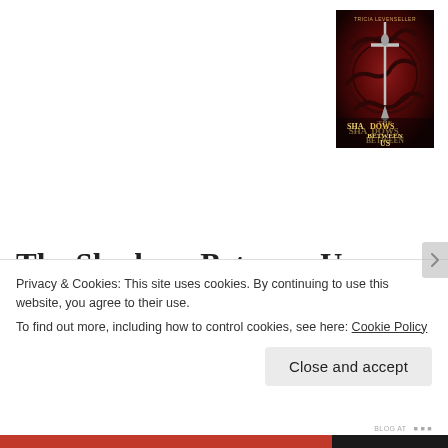[Figure (illustration): Book cover of 'The Shadows Between Us' by Tricia Levenseller. Dark red background with decorative dragon/serpent motifs, a sword in the center, and gold title text.]
The Shadows Between Us: Alessandra plans to marry the king, and then kill him. She's to find out that she isn't the
Privacy & Cookies: This site uses cookies. By continuing to use this website, you agree to their use.
To find out more, including how to control cookies, see here: Cookie Policy
Close and accept